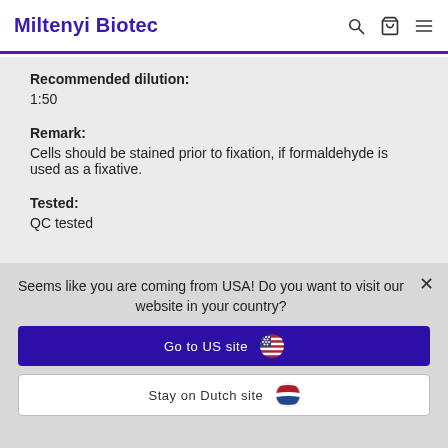Miltenyi Biotec
Recommended dilution:
1:50
Remark:
Cells should be stained prior to fixation, if formaldehyde is used as a fixative.
Tested:
QC tested
Seems like you are coming from USA! Do you want to visit our website in your country?
Go to US site
Stay on Dutch site